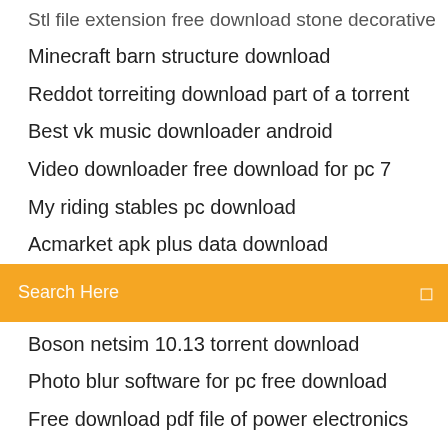Stl file extension free download stone decorative
Minecraft barn structure download
Reddot torreiting download part of a torrent
Best vk music downloader android
Video downloader free download for pc 7
My riding stables pc download
Acmarket apk plus data download
[Figure (screenshot): Orange search bar with text 'Search Here' and a search icon on the right]
Boson netsim 10.13 torrent download
Photo blur software for pc free download
Free download pdf file of power electronics
Convert wmv to mp3 free download
Hp c4780 printer drivers download
Cara download di playstore via browser
Princess diaries 2 book pdf free download
Downloading app on mac cant find library
Free major league baseball download for pc
Chrome file download queue
Chrome download load for